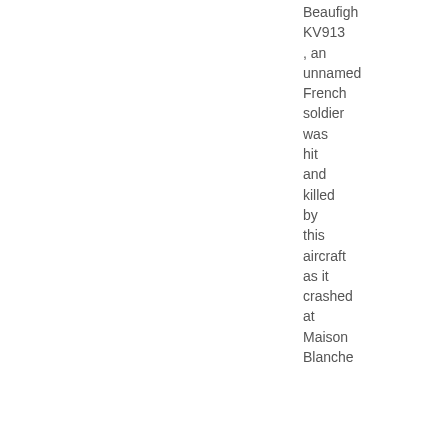Beaufigh KV913 , an unnamed French soldier was hit and killed by this aircraft as it crashed at Maison Blanche
▶ see more
522 replies | 92045 view(s)
31st August 2022, 06:02
jonhey
replied to a thread The